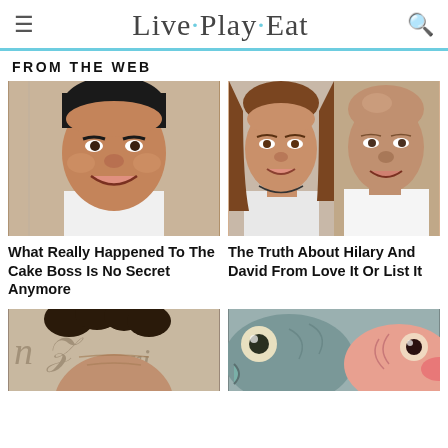Live · Play · Eat
FROM THE WEB
[Figure (photo): Close-up photo of a smiling dark-haired man (Cake Boss / Buddy Valastro)]
[Figure (photo): Photo of a woman with brown hair and a bald man smiling (Hilary and David from Love It Or List It)]
What Really Happened To The Cake Boss Is No Secret Anymore
The Truth About Hilary And David From Love It Or List It
[Figure (photo): Partial photo of a curly-haired person at bottom left]
[Figure (photo): Close-up photo of fish heads at bottom right]